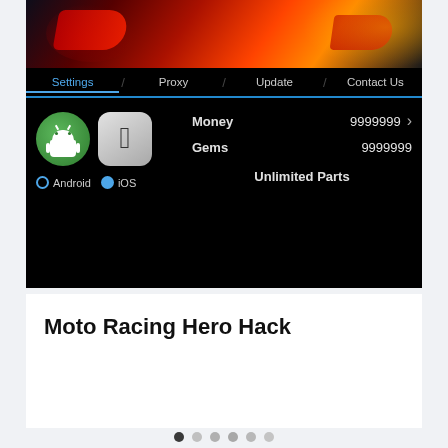[Figure (screenshot): Screenshot of a mobile game hack tool interface for 'Moto Racing Hero'. Shows a dark-themed UI with a motorcycle racing image at top, navigation tabs (Settings, Proxy, Update, Contact Us), platform selection icons (Android selected, iOS), and resource values: Money 9999999, Gems 9999999, Unlimited Parts.]
Moto Racing Hero Hack